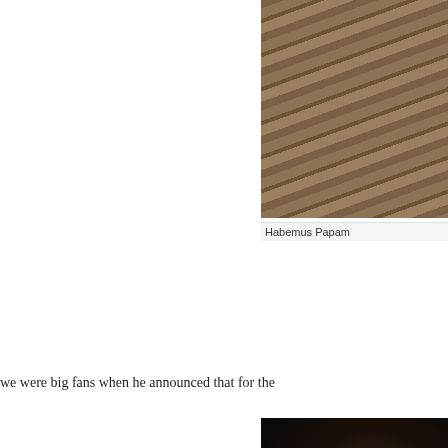[Figure (photo): Photograph of clay/terracotta roof tiles, partially visible, cropped on the right side of the page]
Habemus Papam
we were big fans when he announced that for the
[Figure (photo): Photograph of a person waving, appears to be wearing purple/blue robes, partially visible at bottom right, crowd visible in background]